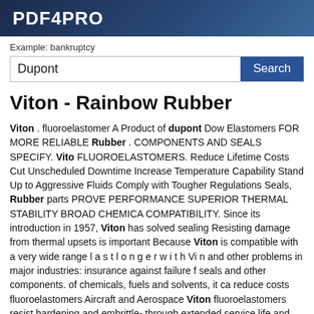PDF4PRO
Example: bankruptcy
Dupont   Search
Viton - Rainbow Rubber
Viton . fluoroelastomer A Product of dupont Dow Elastomers FOR MORE RELIABLE Rubber . COMPONENTS AND SEALS SPECIFY. Vito FLUOROELASTOMERS. Reduce Lifetime Costs Cut Unscheduled Downtime Increase Temperature Capability Stand Up to Aggressive Fluids Comply with Tougher Regulations Seals, Rubber parts PROVE PERFORMANCE SUPERIOR THERMAL STABILITY BROAD CHEMICA COMPATIBILITY. Since its introduction in 1957, Viton has solved sealing Resisting damage from thermal upsets is important Because Viton is compatible with a very wide range l a s t l o n g e r w i t h Vi n and other problems in major industries: insurance against failure f seals and other components. of chemicals, fuels and solvents, it ca reduce costs fluoroelastomers Aircraft and Aerospace Viton fluoroelastomers resist hardening and embrittle- through extended service life and reduced unscheduled Viton can help you reduce cost